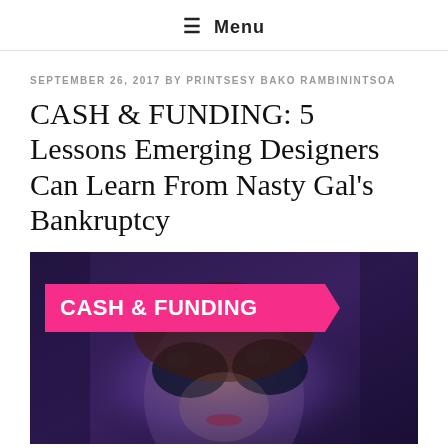≡ Menu
SEPTEMBER 26, 2017 BY PRINTSESY BAKO RAMBININTSOA
CASH & FUNDING: 5 Lessons Emerging Designers Can Learn From Nasty Gal's Bankruptcy
[Figure (photo): Fashion photo of a woman wearing round sunglasses with a pink banner overlay reading 'CASH & FUNDING' and a photo credit 'Photo by Tiko Giorgadze on Unsplash'. The image has a dark purple/blue tone.]